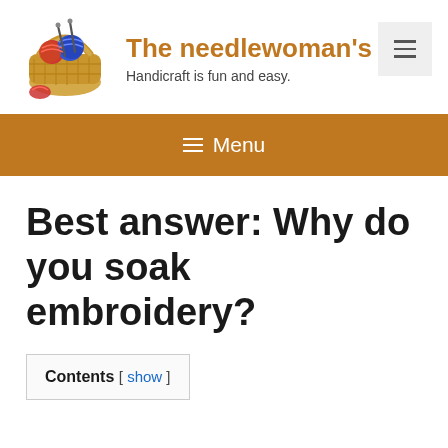[Figure (logo): A basket filled with colorful yarn balls and knitting needles, website logo for The needlewoman's den]
The needlewoman's d
Handicraft is fun and easy.
[Figure (other): Hamburger menu button (three horizontal lines) on light gray background]
≡ Menu
Best answer: Why do you soak embroidery?
Contents [ show ]